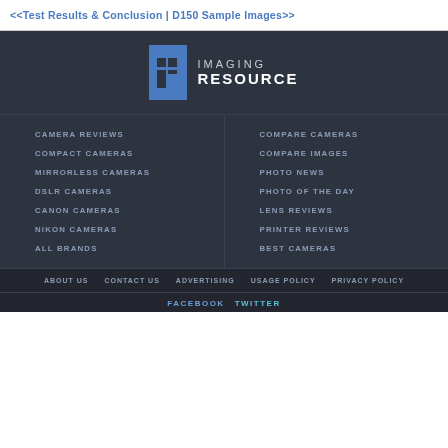<<Test Results & Conclusion | D150 Sample Images>>
[Figure (logo): Imaging Resource logo - blue rectangle with camera icon and IMAGING RESOURCE text]
CAMERA REVIEWS
COMPACT CAMERAS
MIRRORLESS CAMERAS
DSLR CAMERAS
CANON CAMERAS
NIKON CAMERAS
ALL BRANDS
COMPARE CAMERAS
COMPARE IMAGES
PHOTO NEWS
PHOTO OF THE DAY
LENS REVIEWS
PRINTER REVIEWS
BEST CAMERAS
ABOUT US   CONTACT US   ADVERTISING   USAGE POLICY   PRIVACY POLICY
FACEBOOK   TWITTER